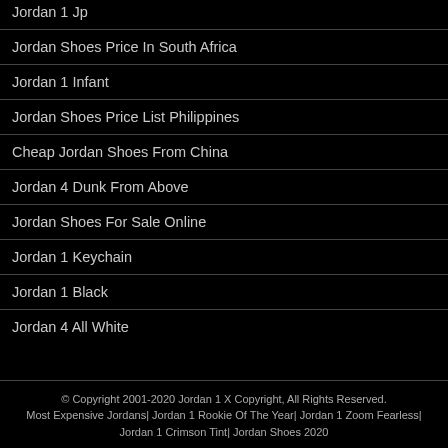Jordan 1 Jp
Jordan Shoes Price In South Africa
Jordan 1 Infant
Jordan Shoes Price List Philippines
Cheap Jordan Shoes From China
Jordan 4 Dunk From Above
Jordan Shoes For Sale Online
Jordan 1 Keychain
Jordan 1 Black
Jordan 4 All White
© Copyright 2001-2020 Jordan 1 X Copyright, All Rights Reserved. Most Expensive Jordans| Jordan 1 Rookie Of The Year| Jordan 1 Zoom Fearless| Jordan 1 Crimson Tint| Jordan Shoes 2020